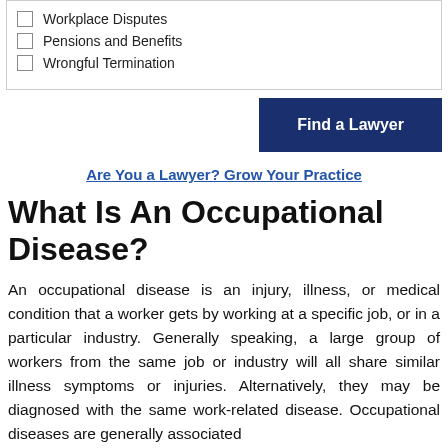Workplace Disputes
Pensions and Benefits
Wrongful Termination
Find a Lawyer
Are You a Lawyer? Grow Your Practice
What Is An Occupational Disease?
An occupational disease is an injury, illness, or medical condition that a worker gets by working at a specific job, or in a particular industry. Generally speaking, a large group of workers from the same job or industry will all share similar illness symptoms or injuries. Alternatively, they may be diagnosed with the same work-related disease. Occupational diseases are generally associated